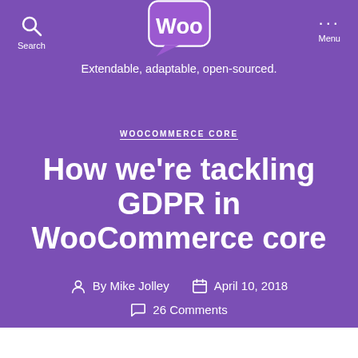[Figure (logo): WooCommerce logo — speech bubble with 'Woo' text inside]
Extendable, adaptable, open-sourced.
WOOCOMMERCE CORE
How we're tackling GDPR in WooCommerce core
By Mike Jolley  April 10, 2018  26 Comments